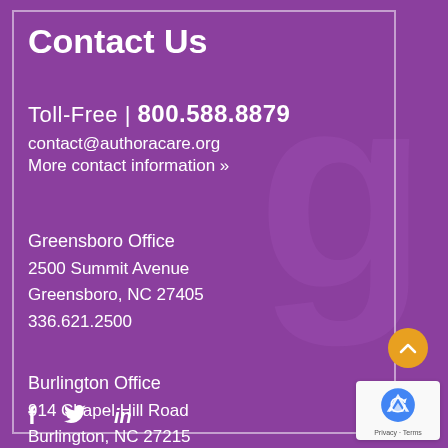Contact Us
Toll-Free | 800.588.8879
contact@authoracare.org
More contact information »
Greensboro Office
2500 Summit Avenue
Greensboro, NC 27405
336.621.2500
Burlington Office
914 Chapel Hill Road
Burlington, NC 27215
336.532.0100
f  Twitter  in